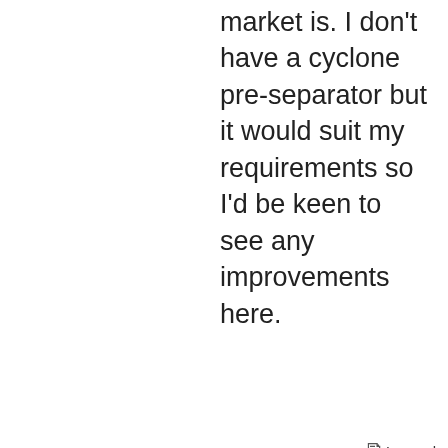market is. I don't have a cyclone pre-separator but it would suit my requirements so I'd be keen to see any improvements here.
Logged
Alex
[Figure (illustration): Cartoon rat character (Remy from Ratatouille) smiling and gesturing with hands]
Posts: 7791
Re: New CT 26/36/48 Refresh
« Reply #7 on: June 27, 2021, 07:42 AM »
Quote from: lloydh on June 27, 2021, 04:56 AM